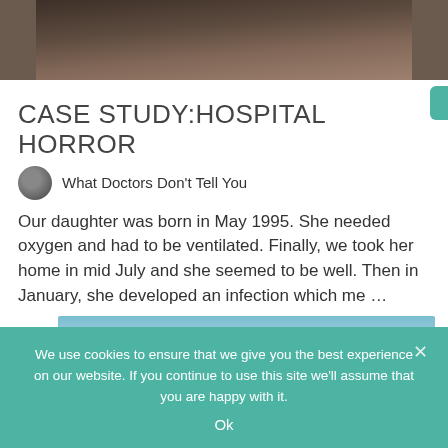[Figure (photo): Dark stone or rock surface photograph, top portion visible, cropped]
CASE STUDY:HOSPITAL HORROR
What Doctors Don't Tell You
Our daughter was born in May 1995. She needed oxygen and had to be ventilated. Finally, we took her home in mid July and she seemed to be well. Then in January, she developed an infection which me …
[Figure (photo): Blue sky and clouds photograph, partially visible]
We use cookies to ensure that we give you the best experience on our website. If you continue to use this site we'll assume that you are happy with it.
Ok